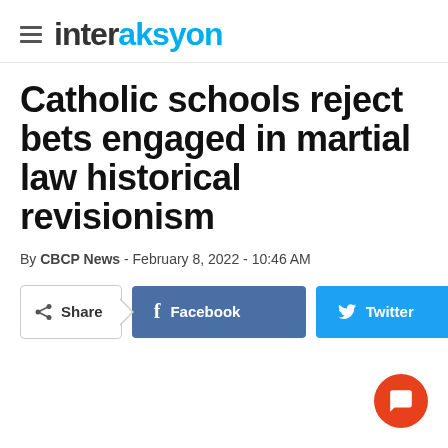interaksyon
Catholic schools reject bets engaged in martial law historical revisionism
By CBCP News - February 8, 2022 - 10:46 AM
[Figure (other): Social share buttons row: Share button, Facebook button, Twitter button]
[Figure (other): Orange circular chat/comment button in bottom right corner]